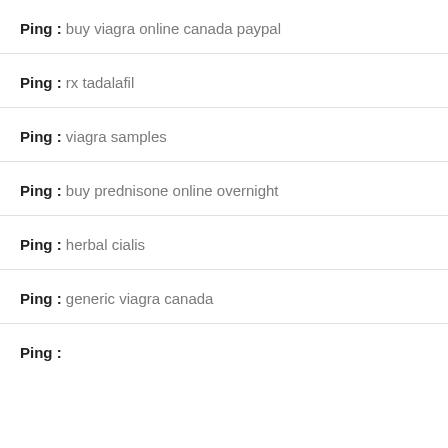Ping : buy viagra online canada paypal
Ping : rx tadalafil
Ping : viagra samples
Ping : buy prednisone online overnight
Ping : herbal cialis
Ping : generic viagra canada
Ping :